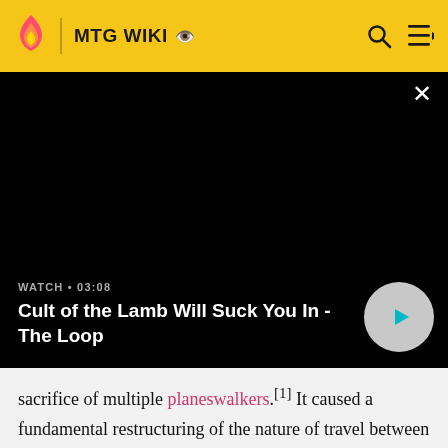MTG WIKI
[Figure (screenshot): Black video player panel with close button (×), WATCH • 03:08 label, video title 'Cult of the Lamb Will Suck You In - The Loop', and a circular play button]
sacrifice of multiple planeswalkers.[1] It caused a fundamental restructuring of the nature of travel between planes of the Multiverse, preventing many types of travel that had formerly been possible; it also rebalanced the power of a planeswalker's spark,